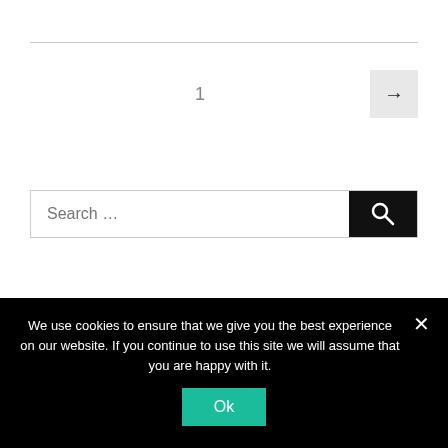1
[Figure (screenshot): Pagination next button with right arrow on grey background]
[Figure (screenshot): Search input box with placeholder text 'Search ...' and dark search button with magnifying glass icon]
Deutsch
We use cookies to ensure that we give you the best experience on our website. If you continue to use this site we will assume that you are happy with it.
Ok